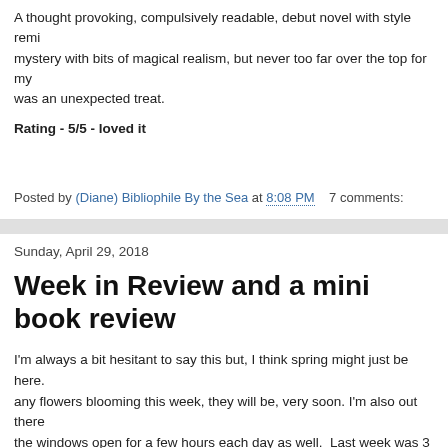A thought provoking, compulsively readable, debut novel with style remi... mystery with bits of magical realism, but never too far over the top for my... was an unexpected treat.
Rating - 5/5 - loved it
Posted by (Diane) Bibliophile By the Sea at 8:08 PM   7 comments:
Sunday, April 29, 2018
Week in Review and a mini book review
I'm always a bit hesitant to say this but, I think spring might just be here. any flowers blooming this week, they will be, very soon. I'm also out there the windows open for a few hours each day as well.  Last week was 3 da my daughter. We also took a ride to the casino (something we do about t spring clothes which was fun. I also managed to find some reading time a
It's been a while since I posted my new book acquisitions, sent to me tha haven't yet decided where I shall begin.